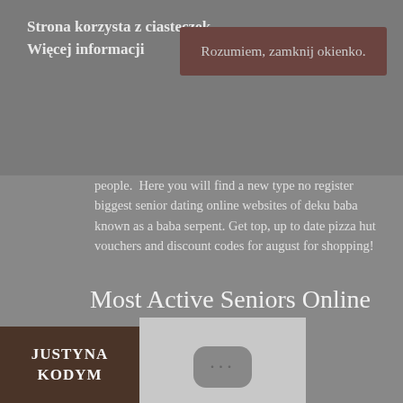Strona korzysta z ciasteczek Więcej informacji
Rozumiem, zamknij okienko.
people.  Here you will find a new type no register biggest senior dating online websites of deku baba known as a baba serpent. Get top, up to date pizza hut vouchers and discount codes for august for shopping!
Most Active Seniors Online Dating Sites In Africa
[Figure (logo): Justyna Kodym logo in dark brown box]
[Figure (other): Light gray box with dark gray rounded rectangle showing three dots (···)]